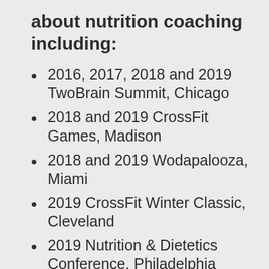about nutrition coaching including:
2016, 2017, 2018 and 2019 TwoBrain Summit, Chicago
2018 and 2019 CrossFit Games, Madison
2018 and 2019 Wodapalooza, Miami
2019 CrossFit Winter Classic, Cleveland
2019 Nutrition & Dietetics Conference, Philadelphia